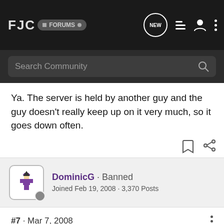FJC FORUMS
Ya. The server is held by another guy and the guy doesn't really keep up on it very much, so it goes down often.
DominicG · Banned
Joined Feb 19, 2008 · 3,370 Posts
#7 · Mar 7, 2008
Those dang server operating midgets.. always slacking.